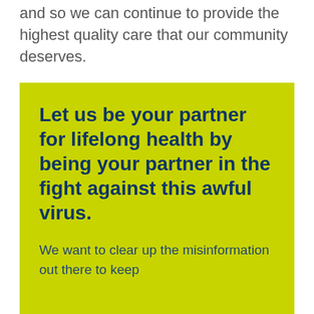and so we can continue to provide the highest quality care that our community deserves.
Let us be your partner for lifelong health by being your partner in the fight against this awful virus.

We want to clear up the misinformation out there to keep